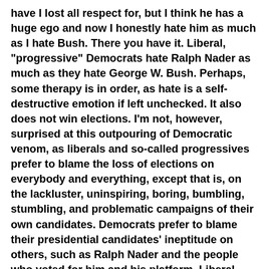have I lost all respect for, but I think he has a huge ego and now I honestly hate him as much as I hate Bush. There you have it. Liberal, "progressive" Democrats hate Ralph Nader as much as they hate George W. Bush. Perhaps, some therapy is in order, as hate is a self-destructive emotion if left unchecked. It also does not win elections. I'm not, however, surprised at this outpouring of Democratic venom, as liberals and so-called progressives prefer to blame the loss of elections on everybody and everything, except that is, on the lackluster, uninspiring, boring, bumbling, stumbling, and problematic campaigns of their own candidates. Democrats prefer to blame their presidential candidates' ineptitude on others, such as Ralph Nader and the people who voted for him and his platform. Liberal, "progressive", Democrats fail to place the responsibility for getting G.W. Bush and Dick Cheney elected where it belongs, that is, onto the people who actually voted for George W. Bush and Dick Cheney at the polls. The elections of 2000 and 2004 were both the Democrats to lose. And, they lost them both. The reality of the Democratic Party's electoral losses are compounded by